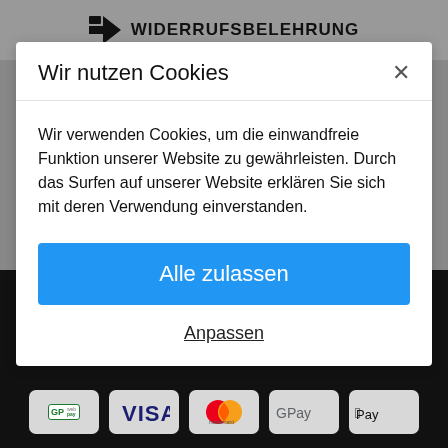WIDERRUFSBELEHRUNG
Wir nutzen Cookies
Wir verwenden Cookies, um die einwandfreie Funktion unserer Website zu gewährleisten. Durch das Surfen auf unserer Website erklären Sie sich mit deren Verwendung einverstanden.
Alle zulassen
Anpassen
SHOP-EINSTELLUNGEN
[Figure (logo): Payment method logos: GP webpay, VISA, Mastercard, Google Pay, Apple Pay]